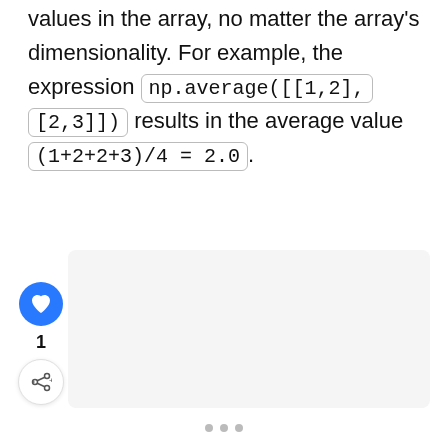values in the array, no matter the array's dimensionality. For example, the expression np.average([[1,2],[2,3]]) results in the average value (1+2+2+3)/4 = 2.0.
[Figure (other): UI interaction buttons: a blue circular heart/like button, a count label showing '1', and a circular share button with a share icon.]